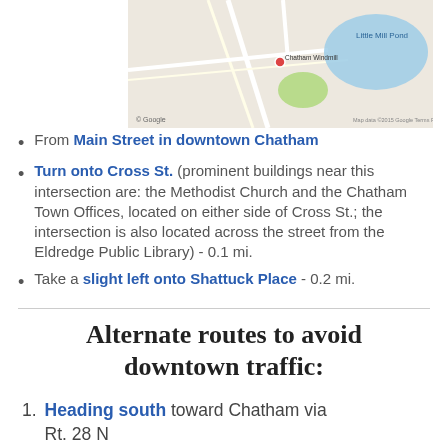[Figure (map): Google Maps screenshot showing Chatham Windmill location near Little Mill Pond with roads and green areas visible]
From Main Street in downtown Chatham
Turn onto Cross St. (prominent buildings near this intersection are: the Methodist Church and the Chatham Town Offices, located on either side of Cross St.; the intersection is also located across the street from the Eldredge Public Library) - 0.1 mi.
Take a slight left onto Shattuck Place - 0.2 mi.
Alternate routes to avoid downtown traffic:
Heading south toward Chatham via Rt. 28 N